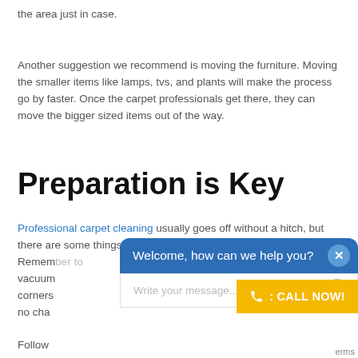the area just in case.
Another suggestion we recommend is moving the furniture. Moving the smaller items like lamps, tvs, and plants will make the process go by faster. Once the carpet professionals get there, they can move the bigger sized items out of the way.
Preparation is Key
Professional carpet cleaning usually goes off without a hitch, but there are some things that could slow down the process. Remem... vacuum... corners... no cha...
Follow... freshly cleaned carpets without any worries.
[Figure (screenshot): Chat widget overlay showing 'Welcome, how can we help you?' header in blue with a close button, a yellow 'CALL NOW!' button, and a 'Write your message...' input field with a send button.]